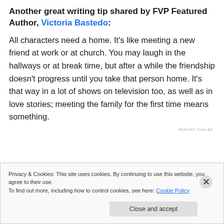Another great writing tip shared by FVP Featured Author, Victoria Bastedo:
All characters need a home. It’s like meeting a new friend at work or at church. You may laugh in the hallways or at break time, but after a while the friendship doesn’t progress until you take that person home. It’s that way in a lot of shows on television too, as well as in love stories; meeting the family for the first time means something.
REPORT THIS AD
Privacy & Cookies: This site uses cookies. By continuing to use this website, you agree to their use.
To find out more, including how to control cookies, see here: Cookie Policy